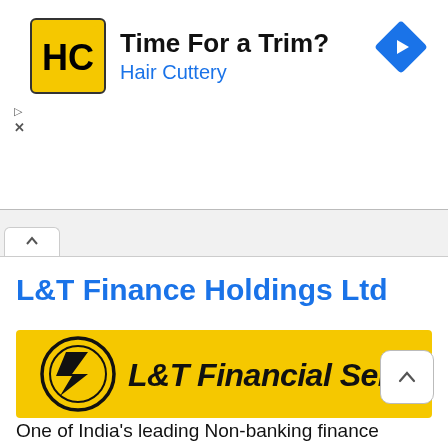[Figure (screenshot): Advertisement banner for Hair Cuttery with yellow HC logo, 'Time For a Trim?' headline and 'Hair Cuttery' subtitle in blue, and a blue navigation diamond icon on the right]
[Figure (logo): L&T Financial Services logo on yellow background with black circle L&T symbol and bold black italic text 'L&T Financial Services']
L&T Finance Holdings Ltd
One of India's leading Non-banking finance